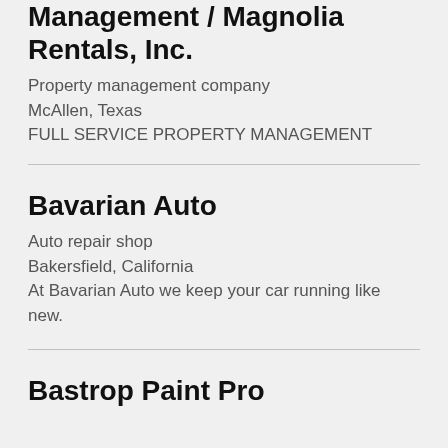Management / Magnolia Rentals, Inc.
Property management company
McAllen, Texas
FULL SERVICE PROPERTY MANAGEMENT
Bavarian Auto
Auto repair shop
Bakersfield, California
At Bavarian Auto we keep your car running like new.
Bastrop Paint Pro